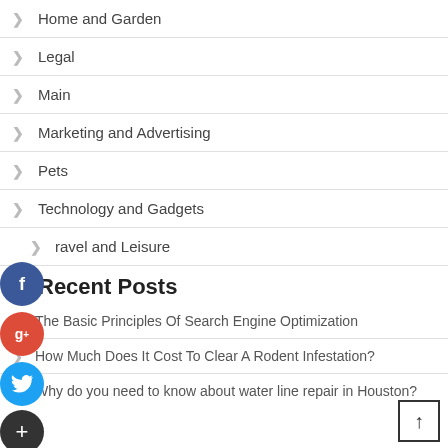Home and Garden
Legal
Main
Marketing and Advertising
Pets
Technology and Gadgets
Travel and Leisure
Recent Posts
The Basic Principles Of Search Engine Optimization
How Much Does It Cost To Clear A Rodent Infestation?
Why do you need to know about water line repair in Houston?